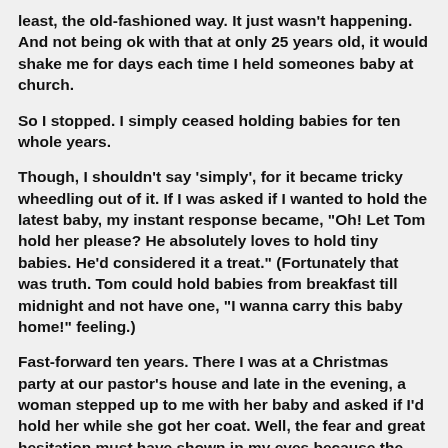least, the old-fashioned way. It just wasn't happening. And not being ok with that at only 25 years old, it would shake me for days each time I held someones baby at church.
So I stopped. I simply ceased holding babies for ten whole years.
Though, I shouldn't say 'simply', for it became tricky wheedling out of it. If I was asked if I wanted to hold the latest baby, my instant response became, "Oh! Let Tom hold her please? He absolutely loves to hold tiny babies. He'd considered it a treat." (Fortunately that was truth. Tom could hold babies from breakfast till midnight and not have one, "I wanna carry this baby home!" feeling.)
Fast-forward ten years. There I was at a Christmas party at our pastor's house and late in the evening, a woman stepped up to me with her baby and asked if I'd hold her while she got her coat. Well, the fear and great hesitation must have shown in my eyes because the mom said, "Don't worry! I'll hurry and get it."